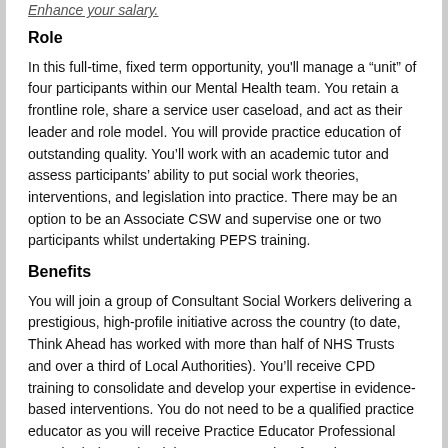Enhance your salary.
Role
In this full-time, fixed term opportunity, you'll manage a “unit” of four participants within our Mental Health team. You retain a frontline role, share a service user caseload, and act as their leader and role model. You will provide practice education of outstanding quality. You’ll work with an academic tutor and assess participants’ ability to put social work theories, interventions, and legislation into practice. There may be an option to be an Associate CSW and supervise one or two participants whilst undertaking PEPS training.
Benefits
You will join a group of Consultant Social Workers delivering a prestigious, high-profile initiative across the country (to date, Think Ahead has worked with more than half of NHS Trusts and over a third of Local Authorities). You’ll receive CPD training to consolidate and develop your expertise in evidence-based interventions. You do not need to be a qualified practice educator as you will receive Practice Educator Professional Standards (PEPS) training stages 1 and 2. If you have PEPS 2, you will do refresher training.